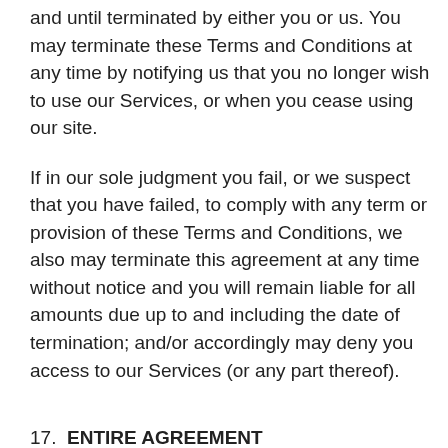and until terminated by either you or us. You may terminate these Terms and Conditions at any time by notifying us that you no longer wish to use our Services, or when you cease using our site.
If in our sole judgment you fail, or we suspect that you have failed, to comply with any term or provision of these Terms and Conditions, we also may terminate this agreement at any time without notice and you will remain liable for all amounts due up to and including the date of termination; and/or accordingly may deny you access to our Services (or any part thereof).
17.  ENTIRE AGREEMENT
The failure of us to exercise or enforce any right or provision of these Terms and Conditions shall not